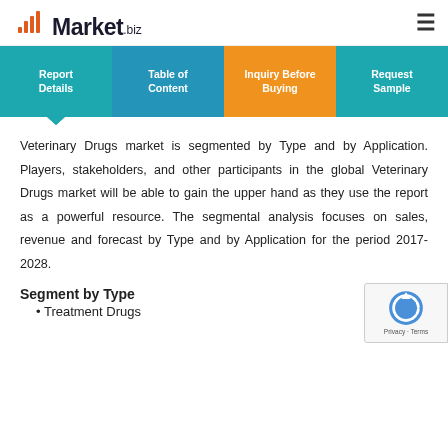Market.biz
Report Details | Table of Content | Inquiry Before Buying | Request Sample
Veterinary Drugs market is segmented by Type and by Application. Players, stakeholders, and other participants in the global Veterinary Drugs market will be able to gain the upper hand as they use the report as a powerful resource. The segmental analysis focuses on sales, revenue and forecast by Type and by Application for the period 2017-2028.
Segment by Type
Treatment Drugs